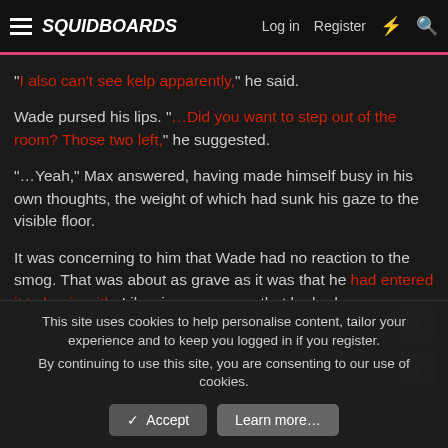SquidBoards — Log in | Register
wade walked back to Max.
"I also can't see kelp apparently," he said.
Wade pursed his lips. "...Did you want to step out of the room? Those two left," he suggested.
"...Yeah," Max answered, having made himself busy in his own thoughts, the weight of which had sunk his gaze to the visible floor.
It was concerning to him that Wade had no reaction to the smog. That was about as grave as it was that he had entered it to begin with. Likewise grave was that he had no proper explanation for how that could be.
Perhaps it was Wade's doing, or his, or a part of the barrier, or the lack of glowing letters or drills or Jax or that corrupted image in the
This site uses cookies to help personalise content, tailor your experience and to keep you logged in if you register.
By continuing to use this site, you are consenting to our use of cookies.
✓ Accept   Learn more...